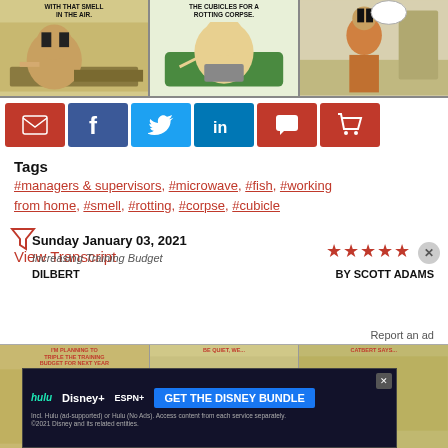[Figure (illustration): Dilbert comic strip panels showing characters discussing a smell, a rotting corpse in cubicles, and a character walking away with a thought bubble]
[Figure (infographic): Social sharing buttons: email (red), Facebook (dark blue), Twitter (light blue), LinkedIn (blue), comment (red), shopping cart (red)]
Tags
#managers & supervisors, #microwave, #fish, #working from home, #smell, #rotting, #corpse, #cubicle
View Transcript
Sunday January 03, 2021
Increasing Training Budget
DILBERT
BY SCOTT ADAMS
[Figure (illustration): Next Dilbert comic strip panels partially visible, with Disney Bundle advertisement overlay]